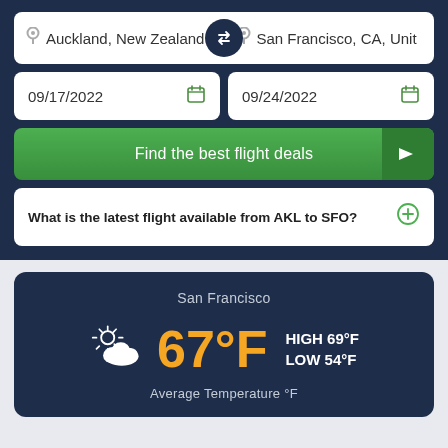[Figure (screenshot): Flight search form with origin Auckland, New Zealand and destination San Francisco, CA, United States, with departure date 09/17/2022 and return date 09/24/2022, and a Find the best flight deals button]
What is the latest flight available from AKL to SFO?
San Francisco
67°F
HIGH 69°F
LOW 54°F
Average Temperature °F